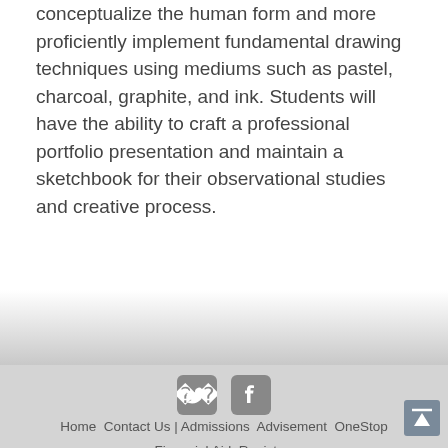conceptualize the human form and more proficiently implement fundamental drawing techniques using mediums such as pastel, charcoal, graphite, and ink. Students will have the ability to craft a professional portfolio presentation and maintain a sketchbook for their observational studies and creative process.
[Figure (other): Social media icons: Twitter bird icon and Facebook 'f' icon, both in gray rounded-square style]
Home Contact Us | Admissions Advisement OneStop Financial Aid Registrar
Registrar's Office B-150 ASB 801-422-7675
undergradcatalog@byu.edu